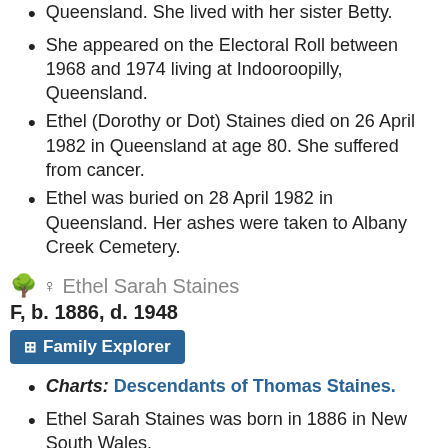Queensland. She lived with her sister Betty.
She appeared on the Electoral Roll between 1968 and 1974 living at Indooroopilly, Queensland.
Ethel (Dorothy or Dot) Staines died on 26 April 1982 in Queensland at age 80. She suffered from cancer.
Ethel was buried on 28 April 1982 in Queensland. Her ashes were taken to Albany Creek Cemetery.
Ethel Sarah Staines F, b. 1886, d. 1948
Charts: Descendants of Thomas Staines.
Ethel Sarah Staines was born in 1886 in New South Wales.
She was the daughter of William Thomas Staines and Rose Hannah Madgwick (Magick).
Ethel Sarah Staines appeared on the Electoral Roll between 1906 and 1909 living at Boundary Street, Singleton. Her occupation was home duties.
She appeared on the Electoral Roll in 1913 living